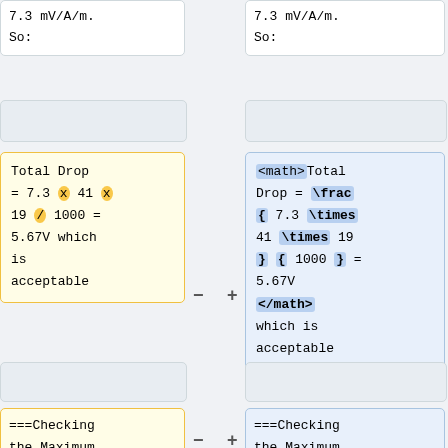7.3 mV/A/m.
So:
7.3 mV/A/m.
So:
Total Drop = 7.3 x 41 x 19 / 1000 = 5.67V which is acceptable
which is acceptable
===Checking the Maximum Earth Loop Impedance===
===Checking the Maximum Earth Loop Impedance (ELI)===